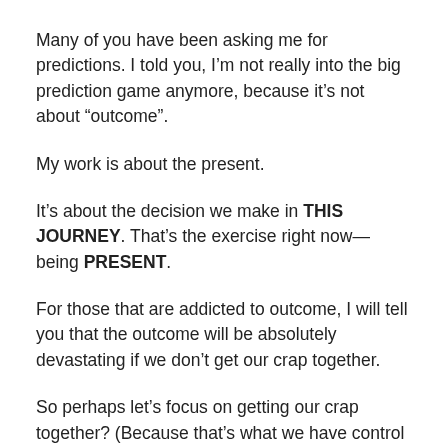Many of you have been asking me for predictions. I told you, I'm not really into the big prediction game anymore, because it's not about “outcome”.
My work is about the present.
It’s about the decision we make in THIS JOURNEY. That’s the exercise right now—being PRESENT.
For those that are addicted to outcome, I will tell you that the outcome will be absolutely devastating if we don’t get our crap together.
So perhaps let’s focus on getting our crap together? (Because that’s what we have control over.)
We have control over whether or not we apply ourselves. And that doesn’t mean that we have to join some crazed